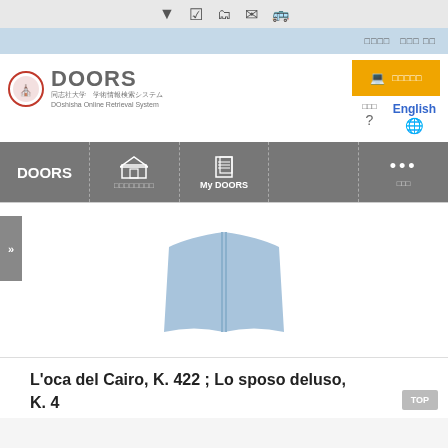[Figure (screenshot): DOORS (DOshisha Online Retrieval System) library catalog interface showing navigation bar, logo, book icon, and a record title]
L'oca del Cairo, K. 422 ; Lo sposo deluso, K. 430 / Mozart